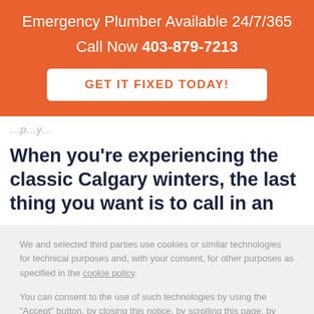Emergency Plumber Available 24/7/365
Call Now 403-879-7213
GET IT FIXED TODAY!
When you’re experiencing the classic Calgary winters, the last thing you want is to call in an
We and selected third parties use cookies or similar technologies for technical purposes and, with your consent, for other purposes as specified in the cookie policy.
You can consent to the use of such technologies by using the “Accept” button, by closing this notice, by scrolling this page, by interacting with any link or button outside of this notice or by continuing to browse otherwise.
Reject
Accept
Learn more and customize